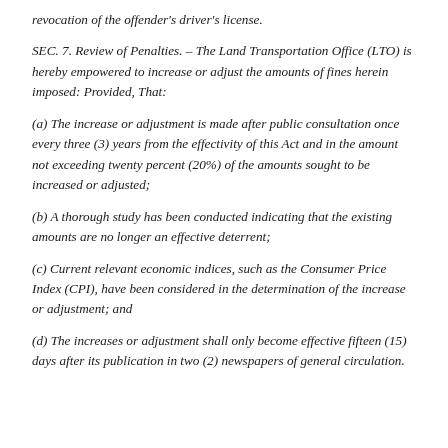revocation of the offender's driver's license.
SEC. 7. Review of Penalties. – The Land Transportation Office (LTO) is hereby empowered to increase or adjust the amounts of fines herein imposed: Provided, That:
(a) The increase or adjustment is made after public consultation once every three (3) years from the effectivity of this Act and in the amount not exceeding twenty percent (20%) of the amounts sought to be increased or adjusted;
(b) A thorough study has been conducted indicating that the existing amounts are no longer an effective deterrent;
(c) Current relevant economic indices, such as the Consumer Price Index (CPI), have been considered in the determination of the increase or adjustment; and
(d) The increases or adjustment shall only become effective fifteen (15) days after its publication in two (2) newspapers of general circulation.